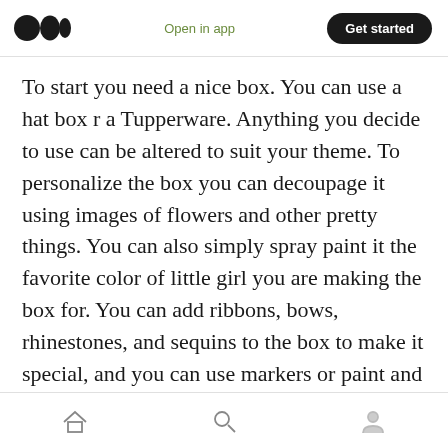Medium logo | Open in app | Get started
To start you need a nice box. You can use a hat box r a Tupperware. Anything you decide to use can be altered to suit your theme. To personalize the box you can decoupage it using images of flowers and other pretty things. You can also simply spray paint it the favorite color of little girl you are making the box for. You can add ribbons, bows, rhinestones, and sequins to the box to make it special, and you can use markers or paint and stencils to write the name of the recipient on it. This box should be a little bigger than what you intend on filling it with because
Home | Search | Profile